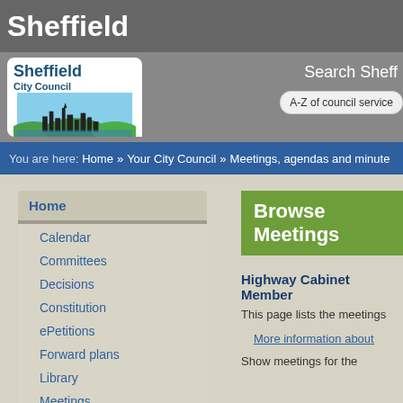Sheffield
[Figure (logo): Sheffield City Council logo with skyline illustration]
Search Sheff
A-Z of council service
You are here: Home » Your City Council » Meetings, agendas and minute
Home
Calendar
Committees
Decisions
Constitution
ePetitions
Forward plans
Library
Meetings
Search documents
Subscribe to updates
Browse Meetings
Highway Cabinet Member
This page lists the meetings
More information about
Show meetings for the